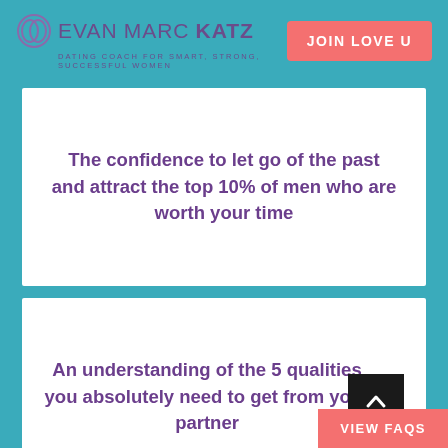EVAN MARC KATZ — DATING COACH FOR SMART, STRONG, SUCCESSFUL WOMEN | JOIN LOVE U
The confidence to let go of the past and attract the top 10% of men who are worth your time
An understanding of the 5 qualities you absolutely need to get from your partner
VIEW FAQS